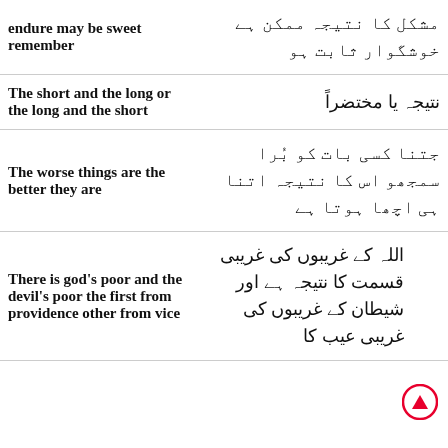| English | Urdu |
| --- | --- |
| endure may be sweet remember | مشکل کا نتیجہ ممکن ہے خوشگوار ثابت ہو |
| The short and the long or the long and the short | نتیجہ یا مختضراً |
| The worse things are the better they are | جتنا کسی بات کو بُرا سمجھو اس کا نتیجہ اتنا ہی اچھا ہوتا ہے |
| There is god's poor and the devil's poor the first from providence other from vice | اللہ کے غریبوں کی غریبی قسمت کا نتیجہ ہے اور شیطان کے غریبوں کی غریبی عیب کا |